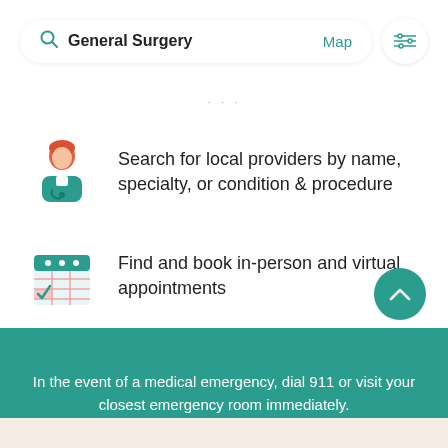[Figure (screenshot): Search bar with 'General Surgery' text, 'Map' link in teal, and a filter/sliders icon button on the right]
Search for local providers by name, specialty, or condition & procedure
Find and book in-person and virtual appointments
In the event of a medical emergency, dial 911 or visit your closest emergency room immediately.